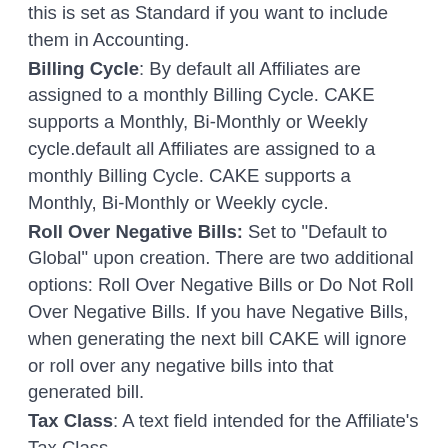this is set as Standard if you want to include them in Accounting.
Billing Cycle: By default all Affiliates are assigned to a monthly Billing Cycle. CAKE supports a Monthly, Bi-Monthly or Weekly cycle.default all Affiliates are assigned to a monthly Billing Cycle. CAKE supports a Monthly, Bi-Monthly or Weekly cycle.
Roll Over Negative Bills: Set to "Default to Global" upon creation. There are two additional options: Roll Over Negative Bills or Do Not Roll Over Negative Bills. If you have Negative Bills, when generating the next bill CAKE will ignore or roll over any negative bills into that generated bill.
Tax Class: A text field intended for the Affiliate's Tax Class.
SSN/Tax ID: A text field intended for the Affiliate's